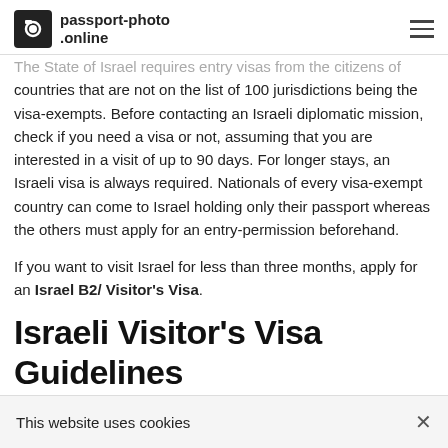passport-photo.online
The State of Israel requires entry visas from the citizens of countries that are not on the list of 100 jurisdictions being the visa-exempts. Before contacting an Israeli diplomatic mission, check if you need a visa or not, assuming that you are interested in a visit of up to 90 days. For longer stays, an Israeli visa is always required. Nationals of every visa-exempt country can come to Israel holding only their passport whereas the others must apply for an entry-permission beforehand.
If you want to visit Israel for less than three months, apply for an Israel B2/ Visitor's Visa.
Israeli Visitor's Visa Guidelines
We are sure that you have plenty of questions about a
This website uses cookies